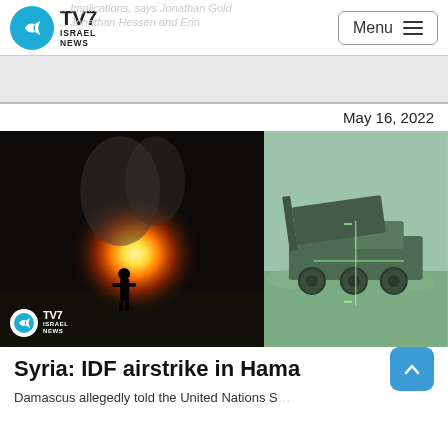TV7 Israel News — Menu
May 16, 2022
[Figure (photo): Left: nighttime explosion with silhouette of a person standing in front of a large fireball. Right: night-vision infrared image of a military vehicle (missile launcher truck) in a desert setting. TV7 Israel News watermark in bottom-left of left image.]
Syria: IDF airstrike in Hama
Damascus allegedly told the United Nations S...